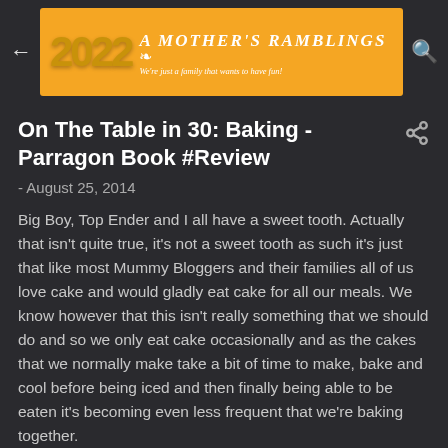[Figure (logo): Blog header banner with '2022' in gold balloon letters and text 'A Mother's Ramblings' with tagline 'We're just a family that wants to have fun!']
On The Table in 30: Baking - Parragon Book #Review
- August 25, 2014
Big Boy, Top Ender and I all have a sweet tooth. Actually that isn't quite true, it's not a sweet tooth as such it's just that like most Mummy Bloggers and their families all of us love cake and would gladly eat cake for all our meals. We know however that this isn't really something that we should do and so we only eat cake occasionally and as the cakes that we normally make take a bit of time to make, bake and cool before being iced and then finally being able to be eaten it's becoming even less frequent that we're baking together.